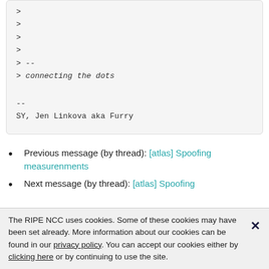>
>
>
>
> --
> connecting the dots
--
SY, Jen Linkova aka Furry
Previous message (by thread): [atlas] Spoofing measurenments
Next message (by thread): [atlas] Spoofing
The RIPE NCC uses cookies. Some of these cookies may have been set already. More information about our cookies can be found in our privacy policy. You can accept our cookies either by clicking here or by continuing to use the site.